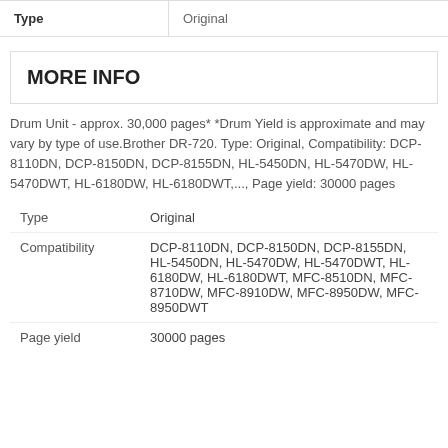| Type |  |
| --- | --- |
| Type | Original |
MORE INFO
Drum Unit - approx. 30,000 pages* *Drum Yield is approximate and may vary by type of use.Brother DR-720. Type: Original, Compatibility: DCP-8110DN, DCP-8150DN, DCP-8155DN, HL-5450DN, HL-5470DW, HL-5470DWT, HL-6180DW, HL-6180DWT,..., Page yield: 30000 pages
| Type | Original |
| Compatibility | DCP-8110DN, DCP-8150DN, DCP-8155DN, HL-5450DN, HL-5470DW, HL-5470DWT, HL-6180DW, HL-6180DWT, MFC-8510DN, MFC-8710DW, MFC-8910DW, MFC-8950DW, MFC-8950DWT |
| Page yield | 30000 pages |